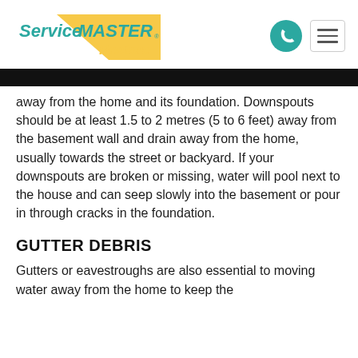[Figure (logo): ServiceMaster Restore logo with teal text and yellow triangle]
away from the home and its foundation. Downspouts should be at least 1.5 to 2 metres (5 to 6 feet) away from the basement wall and drain away from the home, usually towards the street or backyard. If your downspouts are broken or missing, water will pool next to the house and can seep slowly into the basement or pour in through cracks in the foundation.
GUTTER DEBRIS
Gutters or eavestroughs are also essential to moving water away from the home to keep the